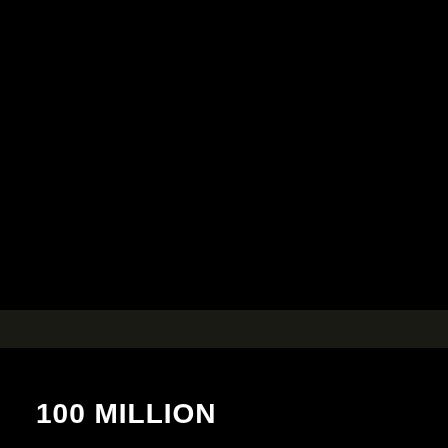[Figure (photo): Dark/black background image with a faint horizontal band or shelf visible near the lower third of the image. The scene is nearly entirely black.]
100 MILLION